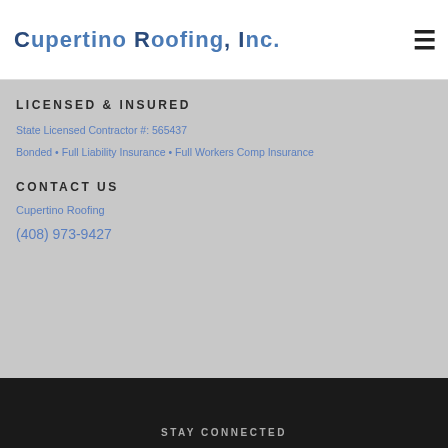Cupertino Roofing, Inc.
LICENSED & INSURED
State Licensed Contractor #: 565437
Bonded • Full Liability Insurance • Full Workers Comp Insurance
CONTACT US
Cupertino Roofing
(408) 973-9427
STAY CONNECTED